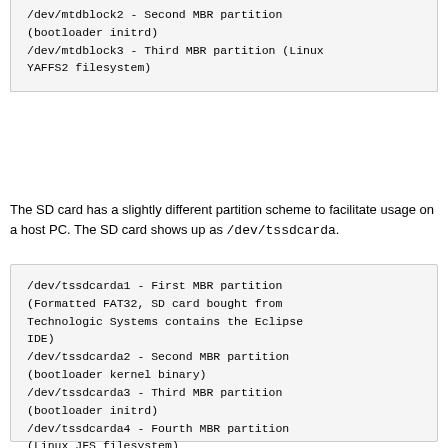/dev/mtdblock2 - Second MBR partition (bootloader initrd)
/dev/mtdblock3 - Third MBR partition (Linux YAFFS2 filesystem)
The SD card has a slightly different partition scheme to facilitate usage on a host PC. The SD card shows up as /dev/tssdcarda.
/dev/tssdcarda1 - First MBR partition (Formatted FAT32, SD card bought from Technologic Systems contains the Eclipse IDE)
/dev/tssdcarda2 - Second MBR partition (bootloader kernel binary)
/dev/tssdcarda3 - Third MBR partition (bootloader initrd)
/dev/tssdcarda4 - Fourth MBR partition (Linux JFS filesystem)